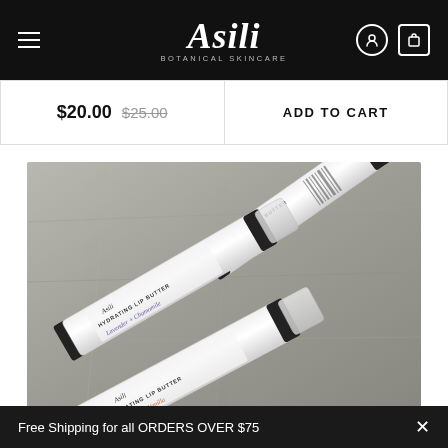[Figure (logo): Asili Botanical Skincare logo in white text on black navigation bar]
$20.00 $25.00
ADD TO CART
[Figure (photo): Three Asili Hydrating Lip Butter tubes on a stone surface: Mint + Herbs, Lavender + Chamomile, and Cinnamon + Vanilla varieties]
Free Shipping for all ORDERS OVER $75